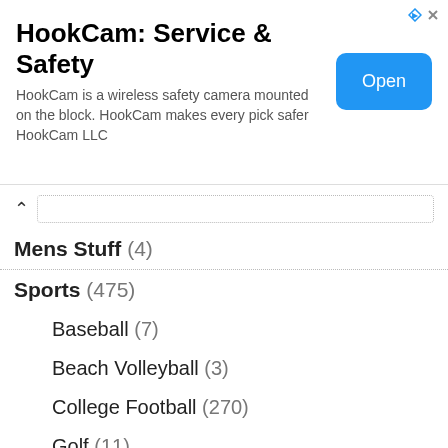[Figure (screenshot): Advertisement banner for HookCam: Service & Safety app with Open button]
HookCam: Service & Safety
HookCam is a wireless safety camera mounted on the block. HookCam makes every pick safer HookCam LLC
Men's Stuff (4)
Sports (475)
Baseball (7)
Beach Volleyball (3)
College Football (270)
Golf (11)
NFL (44)
Olympics (13)
Racing (25)
Soccer (4)
Virtual Happy Hour (8)